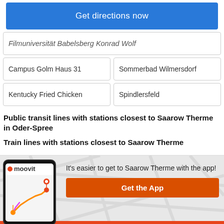Get directions now
Filmuniversität Babelsberg Konrad Wolf
Campus Golm Haus 31
Sommerbad Wilmersdorf
Kentucky Fried Chicken
Spindlersfeld
Public transit lines with stations closest to Saarow Therme in Oder-Spree
Train lines with stations closest to Saarow Therme
[Figure (screenshot): Moovit app screenshot showing a map with transit routes]
It's easier to get to Saarow Therme with the app!
Get the App